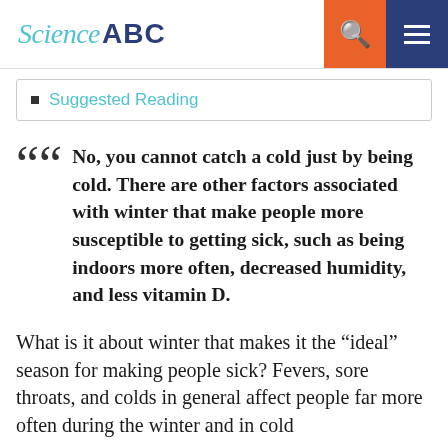Science ABC
Suggested Reading
No, you cannot catch a cold just by being cold. There are other factors associated with winter that make people more susceptible to getting sick, such as being indoors more often, decreased humidity, and less vitamin D.
What is it about winter that makes it the “ideal” season for making people sick? Fevers, sore throats, and colds in general affect people far more often during the winter and in cold